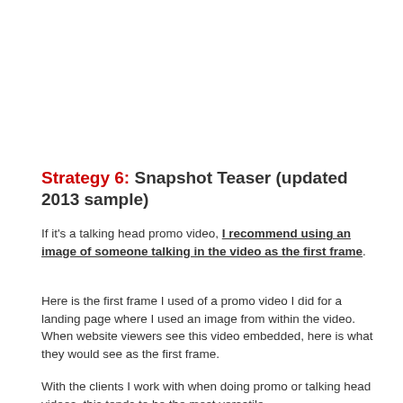Strategy 6: Snapshot Teaser (updated 2013 sample)
If it's a talking head promo video, I recommend using an image of someone talking in the video as the first frame.
Here is the first frame I used of a promo video I did for a landing page where I used an image from within the video. When website viewers see this video embedded, here is what they would see as the first frame.
With the clients I work with when doing promo or talking head videos, this tends to be the most versatile